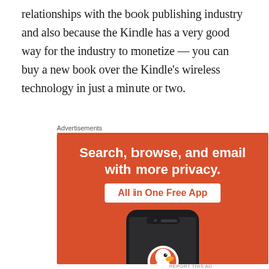relationships with the book publishing industry and also because the Kindle has a very good way for the industry to monetize — you can buy a new book over the Kindle's wireless technology in just a minute or two.
Advertisements
[Figure (infographic): DuckDuckGo advertisement on orange background. Text reads: 'Search, browse, and email with more privacy. All in One Free App'. Shows a smartphone with the DuckDuckGo duck logo and the text 'DuckDuckGo.' at the bottom.]